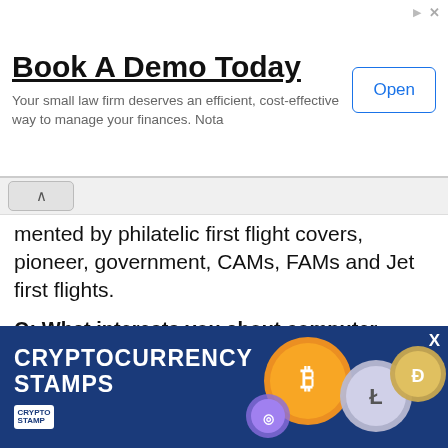[Figure (infographic): Top advertisement banner: 'Book A Demo Today' with subtitle 'Your small law firm deserves an efficient, cost-effective way to manage your finances. Nota' and an Open button]
mented by philatelic first flight covers, pioneer, government, CAMs, FAMs and Jet first flights.
Q: What interests you about computer vended postage stamps?
A: While visiting various stamp shows, I spoke with many stamp dealers and discussed my collecting interests, in particular the latest computer vended and personalized postage. The world was changing from analog to digital, but the use of digitized postage did not seem to excite most stamp dealers. This philatelic aspect interested me greatly since these stamps depicted many aspects of
[Figure (infographic): Bottom advertisement banner with dark blue background showing 'CRYPTOCURRENCY STAMPS' text with coins imagery]